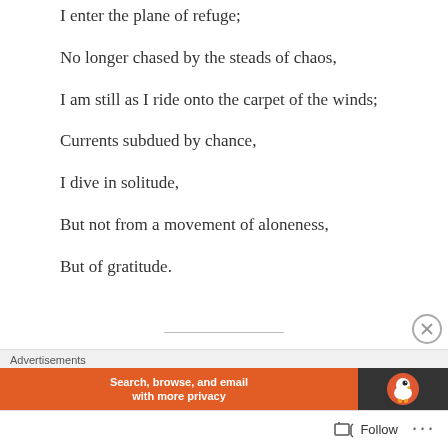I enter the plane of refuge;
No longer chased by the steads of chaos,
I am still as I ride onto the carpet of the winds;
Currents subdued by chance,
I dive in solitude,
But not from a movement of aloneness,
But of gratitude.
Advertisements
Search, browse, and email with more privacy